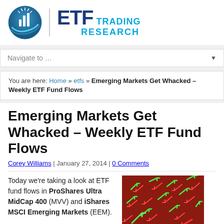[Figure (logo): ETF Trading Research logo with blue globe/chart icon and ETF Trading Research text]
Navigate to ...
You are here: Home » etfs » Emerging Markets Get Whacked – Weekly ETF Fund Flows
Emerging Markets Get Whacked – Weekly ETF Fund Flows
Corey Williams | January 27, 2014 | 0 Comments
Today we're taking a look at ETF fund flows in ProShares Ultra MidCap 400 (MVV) and iShares MSCI Emerging Markets (EEM).
[Figure (photo): Red and green stock market arrows on red background]